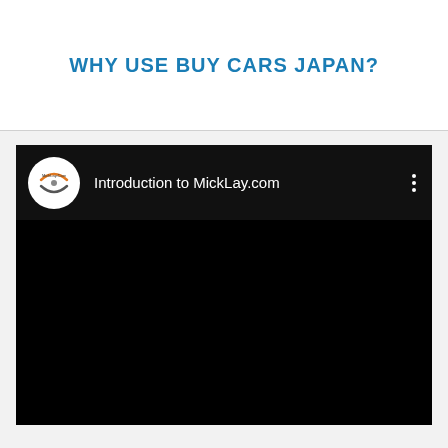WHY USE BUY CARS JAPAN?
[Figure (screenshot): Embedded YouTube-style video thumbnail showing 'Introduction to MickLay.com' with a circular channel logo on a black background]